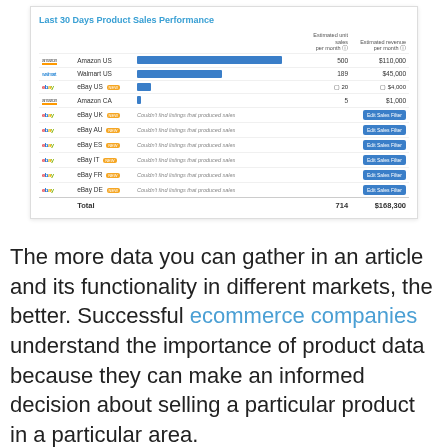[Figure (screenshot): Screenshot of a product sales performance dashboard titled 'Last 30 Days Product Sales Performance' showing a table with marketplace rows (Amazon US, Walmart US, eBay US, Amazon CA, eBay UK, eBay AU, eBay ES, eBay IT, eBay FR, eBay DE) with horizontal bar chart, estimated unit sales per month, and estimated revenue per month columns. Total row shows 714 units and $168,300 revenue.]
The more data you can gather in an article and its functionality in different markets, the better. Successful ecommerce companies understand the importance of product data because they can make an informed decision about selling a particular product in a particular area.